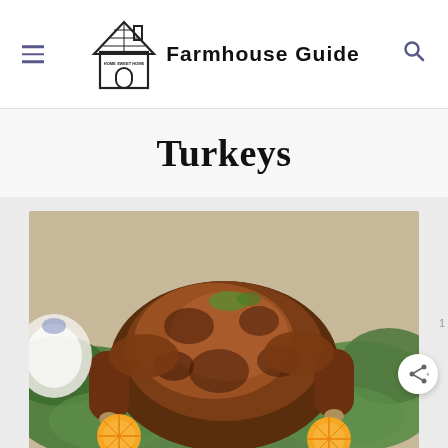Farmhouse Guide
Turkeys
[Figure (photo): A roasted turkey on a bed of green lettuce leaves, garnished with orange slices, herbs, and seasoning. Served on a platter with a dinner plate and blue-and-white tableware in the background.]